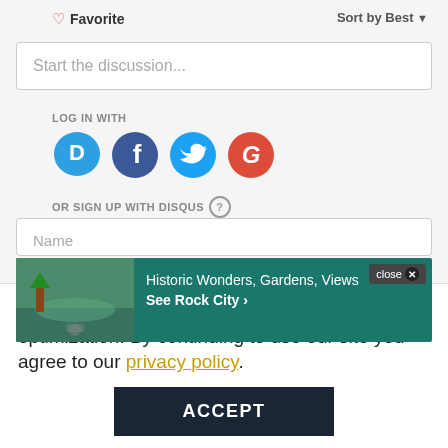Favorite
Sort by Best
Start the discussion...
LOG IN WITH
[Figure (infographic): Social login icons: Disqus (blue speech bubble with D), Facebook (dark blue circle with f), Twitter (light blue circle with bird), Google (red circle with G)]
OR SIGN UP WITH DISQUS ?
Name
[Figure (infographic): Ad banner for See Rock City with aerial landscape photo, teal background, text: Historic Wonders, Gardens, Views / See Rock City ›. Close button in top right.]
Cookies are used for measurement, ads and optimization. By continuing to use our site you agree to our privacy policy.
ACCEPT